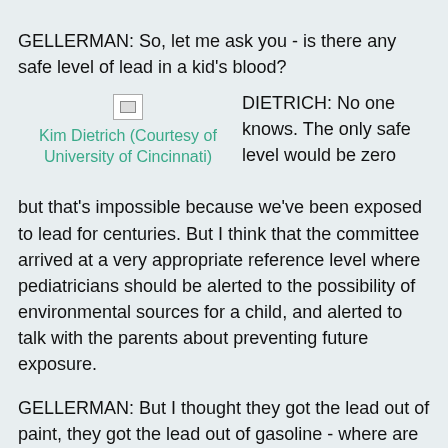GELLERMAN: So, let me ask you - is there any safe level of lead in a kid's blood?
[Figure (photo): Broken/missing image placeholder for Kim Dietrich photo]
Kim Dietrich (Courtesy of University of Cincinnati)
DIETRICH: No one knows. The only safe level would be zero but that's impossible because we've been exposed to lead for centuries. But I think that the committee arrived at a very appropriate reference level where pediatricians should be alerted to the possibility of environmental sources for a child, and alerted to talk with the parents about preventing future exposure.
GELLERMAN: But I thought they got the lead out of paint, they got the lead out of gasoline - where are kids getting exposed to lead?